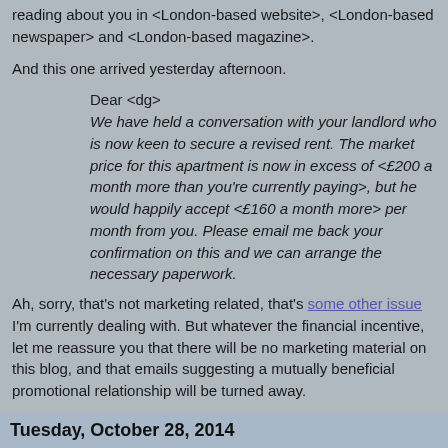reading about you in <London-based website>, <London-based newspaper> and <London-based magazine>.
And this one arrived yesterday afternoon.
Dear <dg>
We have held a conversation with your landlord who is now keen to secure a revised rent. The market price for this apartment is now in excess of <£200 a month more than you're currently paying>, but he would happily accept <£160 a month more> per month from you. Please email me back your confirmation on this and we can arrange the necessary paperwork.
Ah, sorry, that's not marketing related, that's some other issue I'm currently dealing with. But whatever the financial incentive, let me reassure you that there will be no marketing material on this blog, and that emails suggesting a mutually beneficial promotional relationship will be turned away.
I get fewer PR approaches than I used to, but each is one too many, so if you wouldn't mind holding back, your silence would be appreciated.
posted 07:00 : comments (21
Tuesday, October 28, 2014